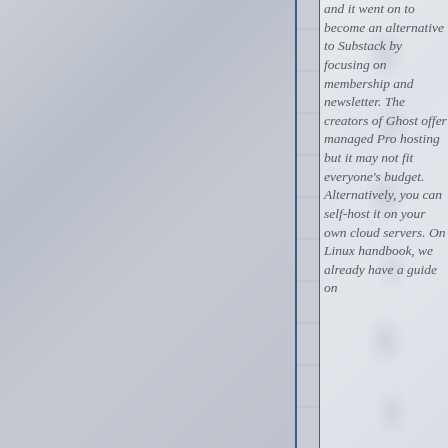and it went on to become an alternative to Substack by focusing on membership and newsletter. The creators of Ghost offer managed Pro hosting but it may not fit everyone's budget. Alternatively, you can self-host it on your own cloud servers. On Linux handbook, we already have a guide on